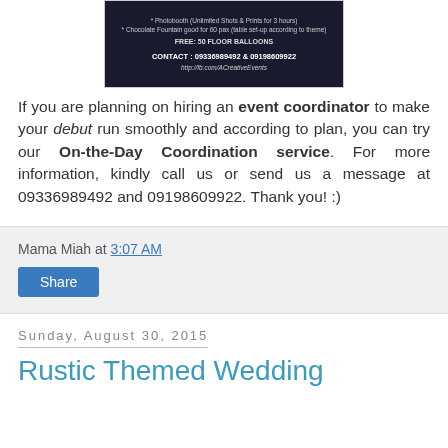[Figure (photo): Advertisement image for ACreativeEvents with dark background showing photobooth and chocolate fountain services, contact numbers 09336989492 & 09198609922, and website http://fb.com/ACreativeEvents]
If you are planning on hiring an event coordinator to make your debut run smoothly and according to plan, you can try our On-the-Day Coordination service. For more information, kindly call us or send us a message at 09336989492 and 09198609922. Thank you! :)
Mama Miah at 3:07 AM
Share
Sunday, August 30, 2015
Rustic Themed Wedding